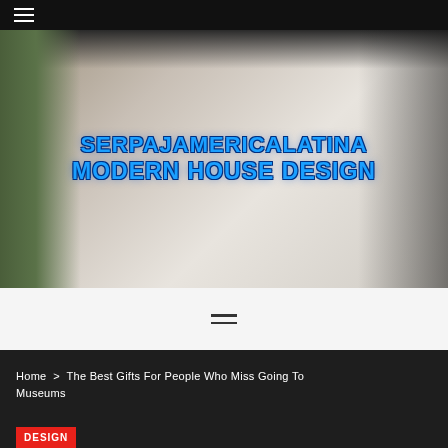☰ (hamburger menu)
[Figure (photo): Modern luxury living room interior with large sofa, round coffee table, staircase, floor-to-ceiling windows, and overlaid text reading 'SERPAJAMERICALATINA MODERN HOUSE DESIGN' in bold blue lettering]
≡ (menu icon)
Home > The Best Gifts For People Who Miss Going To Museums
DESIGN